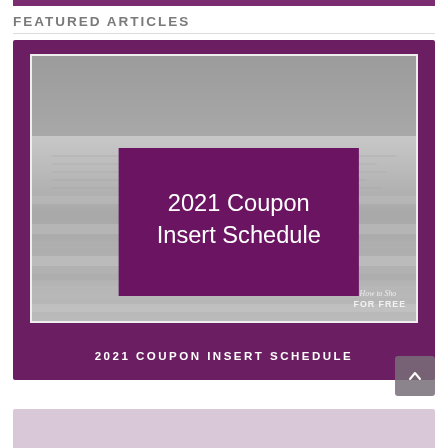FEATURED ARTICLES
[Figure (photo): A stack of folded newspapers in grayscale, with a purple overlay box showing the text '2021 Coupon Insert Schedule' and a watermark reading 'How to Shop FOR FREE' in the bottom right corner.]
2021 COUPON INSERT SCHEDULE